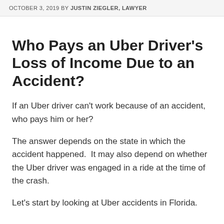OCTOBER 3, 2019 BY JUSTIN ZIEGLER, LAWYER
Who Pays an Uber Driver's Loss of Income Due to an Accident?
If an Uber driver can't work because of an accident, who pays him or her?
The answer depends on the state in which the accident happened.  It may also depend on whether the Uber driver was engaged in a ride at the time of the crash.
Let's start by looking at Uber accidents in Florida.